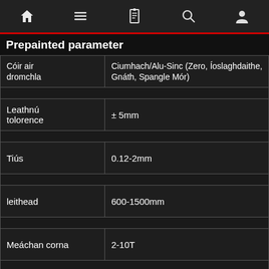navigation bar with home, menu, book, search, user icons
Prepainted parameter
| Cóir air dromchla | Ciumhach/Alu-Sinc (Zero, Íoslaghdaithe, Gnáth, Spangle Mór) |
| --- | --- |
| Leathnú tolorence | ± 5mm |
| Tiús | 0.12-2mm |
| leithead | 600-1500mm |
| Meáchan corna | 2-10T |
| Trastomhas idir coil | 508mm / 610mm |